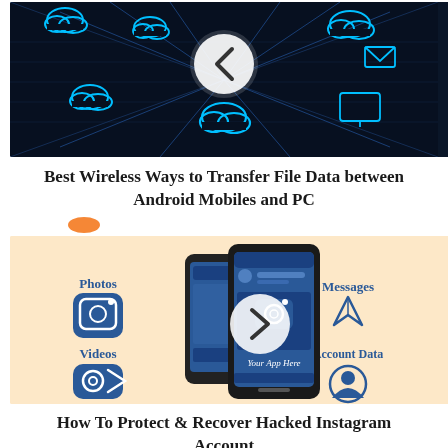[Figure (photo): Technology banner image showing blue digital cloud icons and network data transfer visualization with a play/back button in the center, dark blue tunnel perspective background]
Best Wireless Ways to Transfer File Data between Android Mobiles and PC
[Figure (infographic): Infographic on light beige/peach background showing two smartphones (dark colored) with Instagram-like app interface. Labels around: Photos (camera icon), Videos (video icon), Messages (send icon), Account Data (person icon). A circular play button overlays the center.]
How To Protect & Recover Hacked Instagram Account